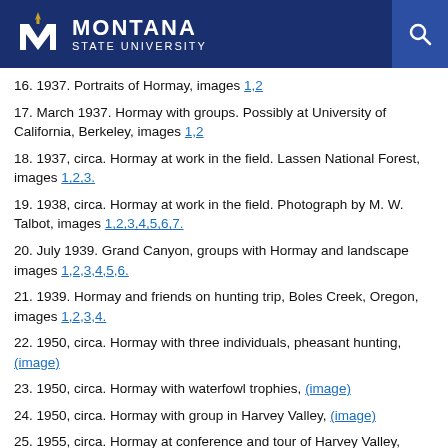Montana State University
16. 1937. Portraits of Hormay, images 1,2
17. March 1937. Hormay with groups. Possibly at University of California, Berkeley, images 1,2
18. 1937, circa. Hormay at work in the field. Lassen National Forest, images 1,2,3.
19. 1938, circa. Hormay at work in the field. Photograph by M. W. Talbot, images 1,2,3,4,5,6,7.
20. July 1939. Grand Canyon, groups with Hormay and landscape images 1,2,3,4,5,6.
21. 1939. Hormay and friends on hunting trip, Boles Creek, Oregon, images 1,2,3,4.
22. 1950, circa. Hormay with three individuals, pheasant hunting, (image)
23. 1950, circa. Hormay with waterfowl trophies, (image)
24. 1950, circa. Hormay with group in Harvey Valley, (image)
25. 1955, circa. Hormay at conference and tour of Harvey Valley, images 1,2,3,4,5,6,7,8.
26. 1955, circa. Hormay examining plants in Harvey Valley,